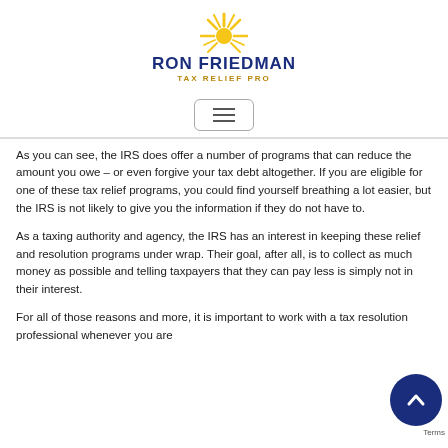[Figure (logo): Ron Friedman Tax Relief Pro logo with sun/starburst icon above the company name]
[Figure (other): Hamburger menu button (three horizontal lines in a rounded rectangle border)]
As you can see, the IRS does offer a number of programs that can reduce the amount you owe – or even forgive your tax debt altogether. If you are eligible for one of these tax relief programs, you could find yourself breathing a lot easier, but the IRS is not likely to give you the information if they do not have to.
As a taxing authority and agency, the IRS has an interest in keeping these relief and resolution programs under wrap. Their goal, after all, is to collect as much money as possible and telling taxpayers that they can pay less is simply not in their interest.
For all of those reasons and more, it is important to work with a tax resolution professional whenever you are